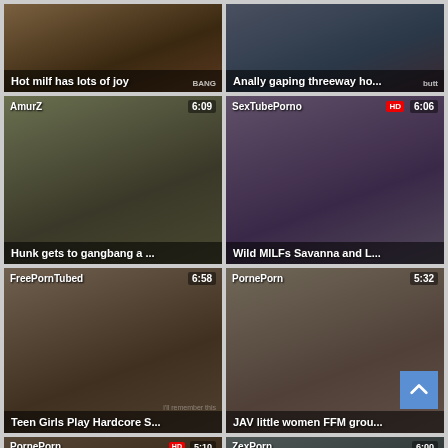[Figure (screenshot): Video thumbnail grid showing adult video thumbnails with titles, site names, durations]
Hot milf has lots of joy
Anally gaping threeway ho...
Hunk gets to gangbang a ...
Wild MILFs Savanna and L...
Teen Girls Play Hardcore S...
JAV little women FFM grou...
PornePorn 5:10
ZexPorn 6:00